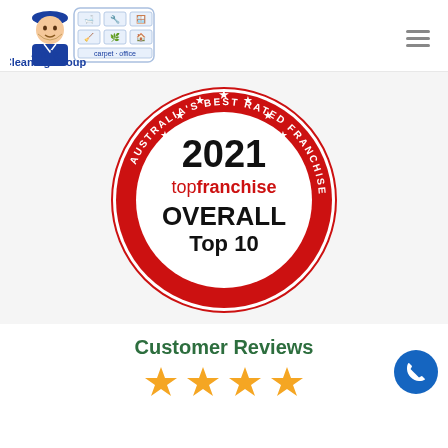[Figure (logo): Jim's Cleaning Group logo with man in blue hat and service icons]
[Figure (other): 2021 Top Franchise OVERALL Top 10 Australia's Best Rated Franchises red circular badge/seal]
Customer Reviews
[Figure (other): Four gold star rating icons partially visible at bottom]